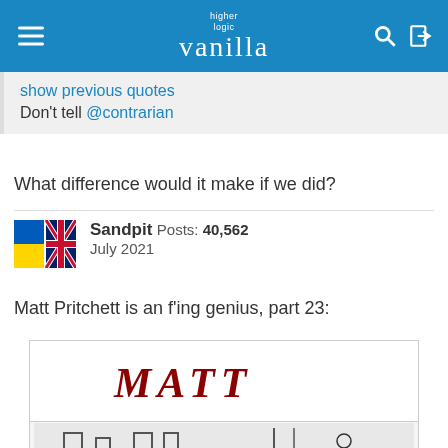higher logic vanilla
show previous quotes
Don't tell @contrarian
What difference would it make if we did?
Sandpit  Posts: 40,562
July 2021
Matt Pritchett is an f'ing genius, part 23:
[Figure (illustration): Matt Pritchett cartoon. Top section shows the MATT logo in dark red cursive lettering. Bottom section shows a sketch of what appears to be a building exterior with figures.]